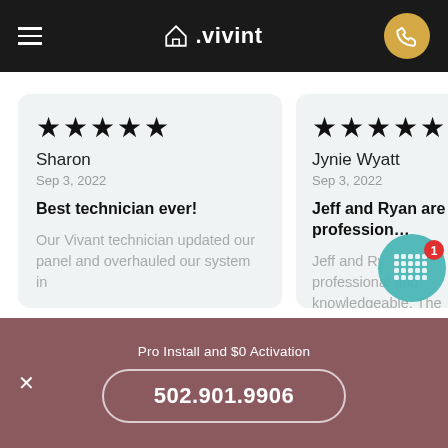≡ △.vivint ☎
★★★★★
Sharon
Sep 3, 2022
Best technician ever!
Our Vivant technician updated our panel and overhauled our system in
★★★★★
Jynie Wyatt
Sep 3, 2022
Jeff and Ryan are profession…
Jeff and Ry… professional and knowledgeable. The
Pro Install and $0 Activation
502.901.9906